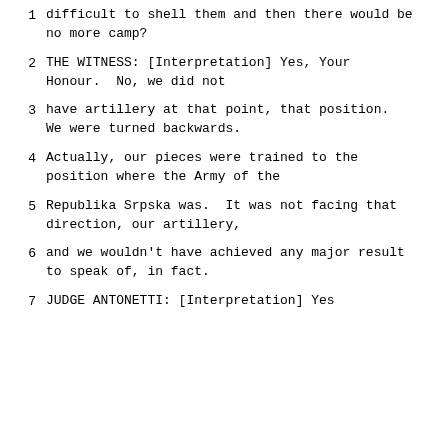1    difficult to shell them and then there would be no more camp?
2         THE WITNESS: [Interpretation] Yes, Your Honour.  No, we did not
3     have artillery at that point, that position. We were turned backwards.
4     Actually, our pieces were trained to the position where the Army of the
5     Republika Srpska was.  It was not facing that direction, our artillery,
6     and we wouldn't have achieved any major result to speak of, in fact.
7         JUDGE ANTONETTI: [Interpretation] Yes